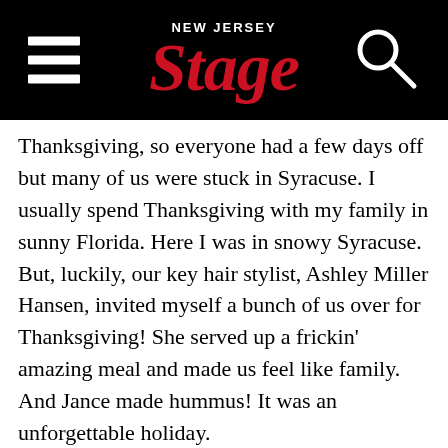[Figure (logo): New Jersey Stage website header with black background, hamburger menu icon on left, 'New Jersey Stage' logo in center (red italic serif text), and search magnifying glass icon on right]
Thanksgiving, so everyone had a few days off but many of us were stuck in Syracuse. I usually spend Thanksgiving with my family in sunny Florida. Here I was in snowy Syracuse. But, luckily, our key hair stylist, Ashley Miller Hansen, invited myself a bunch of us over for Thanksgiving! She served up a frickin' amazing meal and made us feel like family. And Jance made hummus! It was an unforgettable holiday.
Overall, I'm supremely thankful for the cast and crew on this set. I grew up making movies with my friends in elementary and high school. It may sound silly, but there's no sense in making a film if I don't feel like I'm hanging out and making something really cool with my